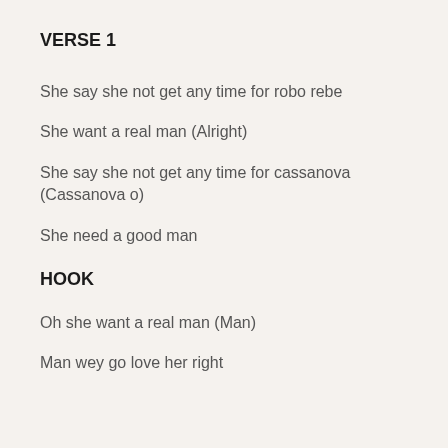VERSE 1
She say she not get any time for robo rebe
She want a real man (Alright)
She say she not get any time for cassanova (Cassanova o)
She need a good man
HOOK
Oh she want a real man (Man)
Man wey go love her right